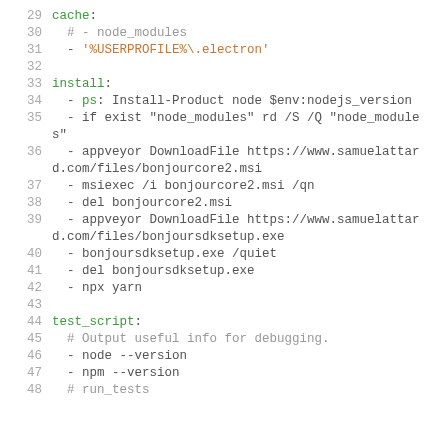[Figure (screenshot): Code snippet showing a YAML configuration file with lines 29-48. Contains cache, install, and test_script sections with various commands including PowerShell, appveyor, msiexec, and npm commands.]